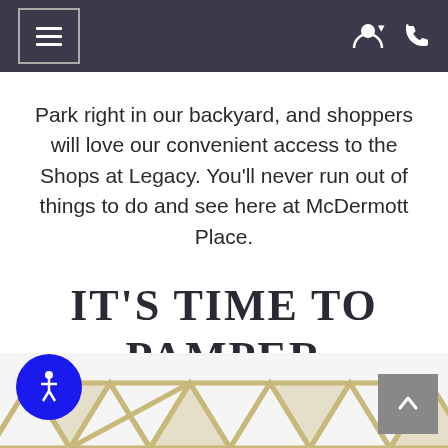Navigation bar with hamburger menu, user icon, and phone icon
Park right in our backyard, and shoppers will love our convenient access to the Shops at Legacy. You'll never run out of things to do and see here at McDermott Place.
IT'S TIME TO PAMPER YOURSELF
[Figure (illustration): Gold geometric diamond/chevron repeating pattern strip at bottom of page with accessibility button (blue circle with person icon) on left and scroll-to-top button (grey square with up arrow) on right]